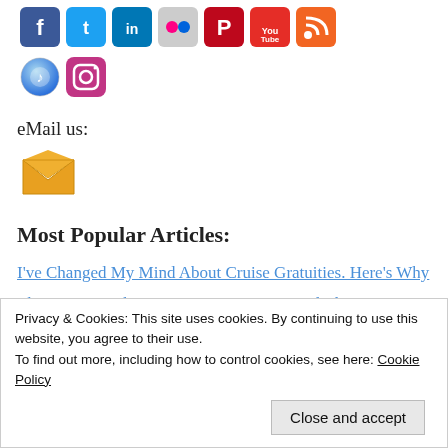[Figure (illustration): Row of social media icons: Facebook, Twitter, LinkedIn, Flickr, Pinterest, YouTube, RSS, then a second row with iTunes/Music and Instagram]
eMail us:
[Figure (illustration): Golden/yellow envelope email icon]
Most Popular Articles:
I've Changed My Mind About Cruise Gratuities. Here's Why
There's A Lot That Can Go Wrong On An Alaska
Privacy & Cookies: This site uses cookies. By continuing to use this website, you agree to their use.
To find out more, including how to control cookies, see here: Cookie Policy